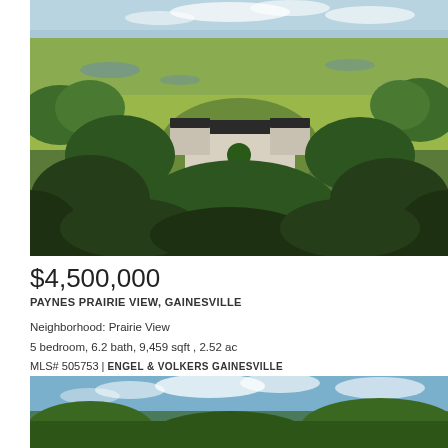[Figure (photo): Aerial drone photograph of a large luxury home surrounded by dense trees, with expansive green marshland (Paynes Prairie) visible in the background under a partly cloudy sky.]
$4,500,000
PAYNES PRAIRIE VIEW, GAINESVILLE
Neighborhood: Prairie View
5 bedroom, 6.2 bath, 9,459 sqft , 2.52 ac
MLS# 505753 | ENGEL & VOLKERS GAINESVILLE
[Figure (photo): Partial aerial photograph of the property showing treetops and blue sky with clouds, cropped at the bottom of the page.]